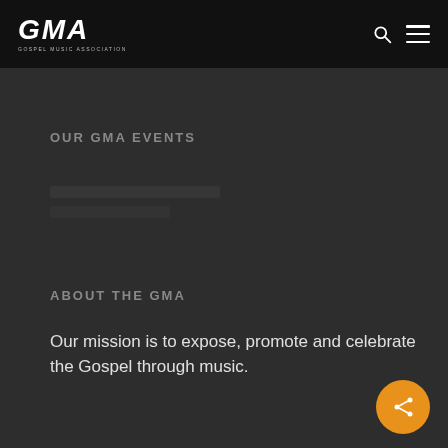GMA GOSPEL MUSIC ASSOCIATION
OUR GMA EVENTS
ABOUT THE GMA
Our mission is to expose, promote and celebrate the Gospel through music.